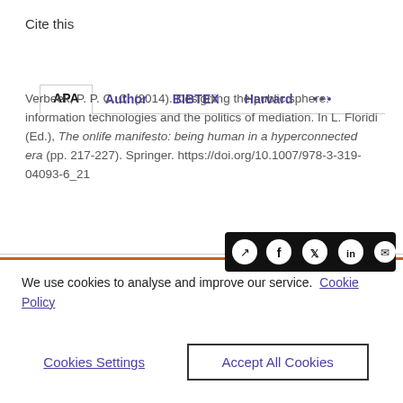Cite this
APA | Author | BIBTEX | Harvard | ...
Verbeek, P. P. C. C. (2014). Designing the public sphere: information technologies and the politics of mediation. In L. Floridi (Ed.), The onlife manifesto: being human in a hyperconnected era (pp. 217-227). Springer. https://doi.org/10.1007/978-3-319-04093-6_21
We use cookies to analyse and improve our service. Cookie Policy
Cookies Settings
Accept All Cookies